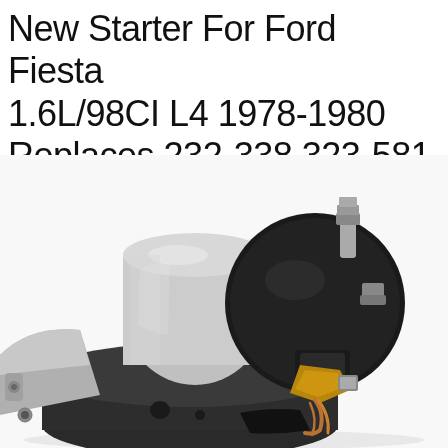New Starter For Ford Fiesta 1.6L/98CI L4 1978-1980 Replaces 232-338 323-581
[Figure (photo): Close-up photograph of a new automotive starter motor for Ford Fiesta 1.6L/98CI L4 (1978-1980). The starter shows a silver/chrome cylindrical solenoid housing on the left, a large black round end cap with electrical terminals (studs with nuts) at the top right, gold/copper colored contact components and wiring in the center-right area, a gray die-cast mounting bracket on the lower left, and a dark gray/black main motor body at the bottom. The background is white.]